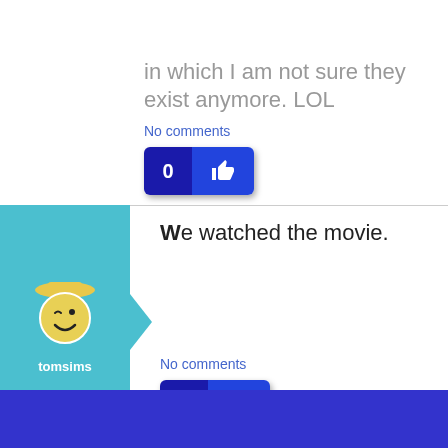in which I am not sure they exist anymore. LOL
No comments
We watched the movie.
No comments
tomsims
I felt a right tit.
No comments
ChelseaMark